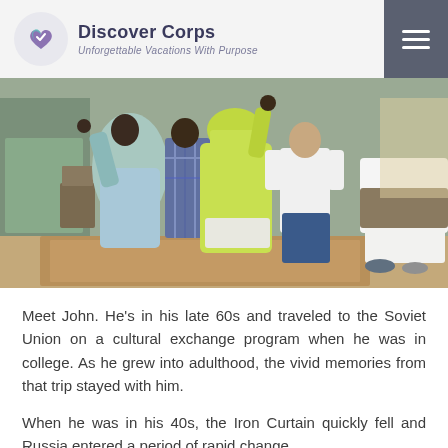Discover Corps — Unforgettable Vacations With Purpose
[Figure (photo): Group of people dancing or engaging in a cultural activity indoors; women in colorful dresses (light blue and yellow-green), men in casual clothes, patterned rug on the floor.]
Meet John. He’s in his late 60s and traveled to the Soviet Union on a cultural exchange program when he was in college. As he grew into adulthood, the vivid memories from that trip stayed with him.
When he was in his 40s, the Iron Curtain quickly fell and Russia entered a period of rapid change.